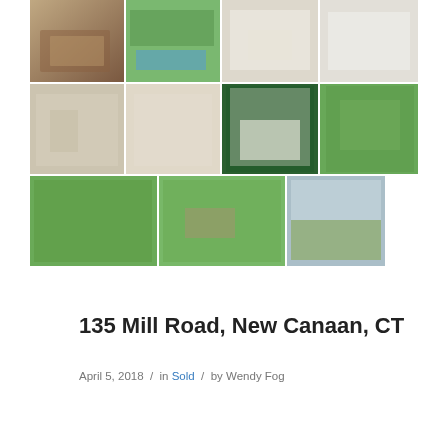[Figure (photo): Grid of 11 real estate listing photos showing interior rooms, outdoor grounds, pool area, aerial views, and landscape of a property at 135 Mill Road, New Canaan, CT]
135 Mill Road, New Canaan, CT
April 5, 2018 / in Sold / by Wendy Fog